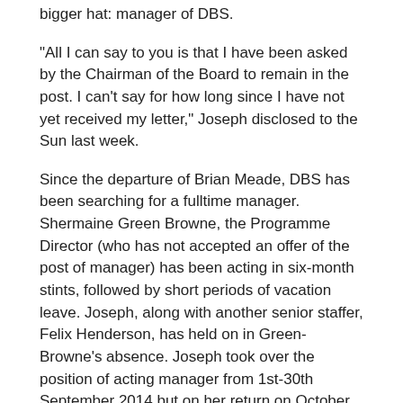bigger hat: manager of DBS.
"All I can say to you is that I have been asked by the Chairman of the Board to remain in the post. I can't say for how long since I have not yet received my letter," Joseph disclosed to the Sun last week.
Since the departure of Brian Meade, DBS has been searching for a fulltime manager. Shermaine Green Browne, the Programme Director (who has not accepted an offer of the post of manager) has been acting in six-month stints, followed by short periods of vacation leave. Joseph, along with another senior staffer, Felix Henderson, has held on in Green-Browne's absence. Joseph took over the position of acting manager from 1st-30th September 2014 but on her return on October 1, 2014, Green-Browne was told to return to her original post.
"I have been working DBS for 24 years and a half and if I am asked to take the job of manager I will gladly accept it. I am ready for that job and it is my civic duty to accept that job (the post).